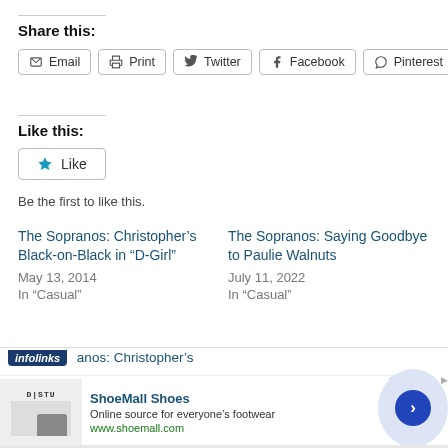Share this:
Email | Print | Twitter | Facebook | Pinterest
Like this:
Like
Be the first to like this.
The Sopranos: Christopher’s Black-on-Black in “D-Girl”
May 13, 2014
In “Casual”
The Sopranos: Saying Goodbye to Paulie Walnuts
July 11, 2022
In “Casual”
[Figure (screenshot): Infolinks ad bar with text 'anos: Christopher’s' and ShoeMall Shoes advertisement below showing shoe image, title 'ShoeMall Shoes', description 'Online source for everyone’s footwear', URL 'www.shoemall.com', close button, and navigation arrow.]